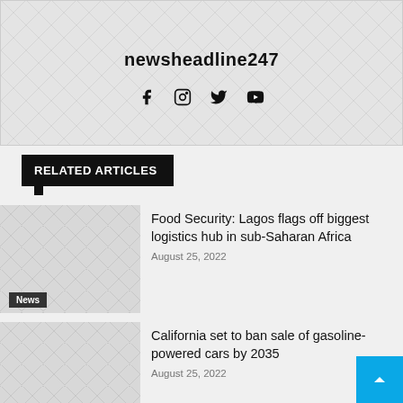newsheadline247
RELATED ARTICLES
Food Security: Lagos flags off biggest logistics hub in sub-Saharan Africa
August 25, 2022
California set to ban sale of gasoline-powered cars by 2035
August 25, 2022
The future of work means more opportunities; Nigeria's first hurdle is signing the Start-up into law